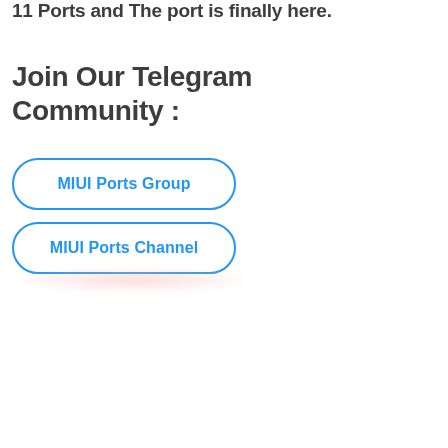11 Ports and The port is finally here.
Join Our Telegram Community :
MIUI Ports Group
MIUI Ports Channel